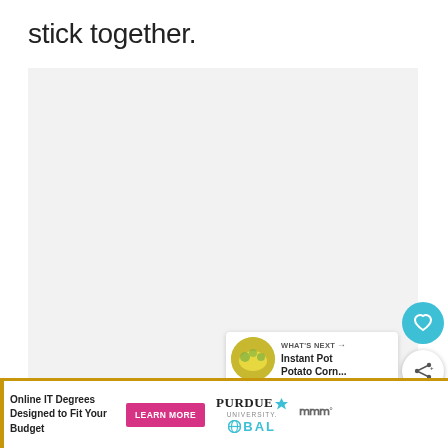stick together.
[Figure (other): Light gray rectangular image placeholder area]
[Figure (infographic): Teal circular heart/favorite button]
[Figure (infographic): White circular share/add button with shadow]
[Figure (other): WHAT'S NEXT promo card with food thumbnail showing Instant Pot Potato Corn... text]
[Figure (other): Purdue University Global advertisement banner with Learn More button and Online IT Degrees text]